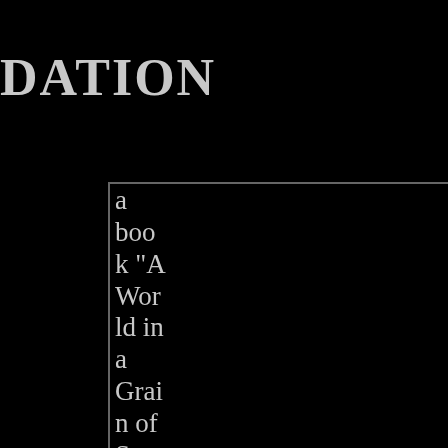DATION
a book “A World in a Grain of Sand: The Clairvoy
eogens and Consciousness
Psychology and Psychotherapy
Parapsychology and Psychical Research